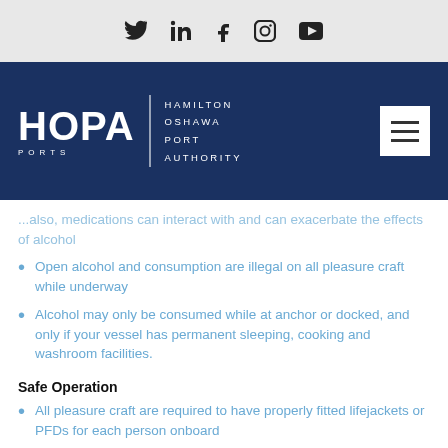Social media icons: Twitter, LinkedIn, Facebook, Instagram, YouTube
[Figure (logo): HOPA Ports - Hamilton Oshawa Port Authority logo with navigation bar on dark blue background including hamburger menu button]
...exacerbate the effects of alcohol
Open alcohol and consumption are illegal on all pleasure craft while underway
Alcohol may only be consumed while at anchor or docked, and only if your vessel has permanent sleeping, cooking and washroom facilities.
Safe Operation
All pleasure craft are required to have properly fitted lifejackets or PFDs for each person onboard...